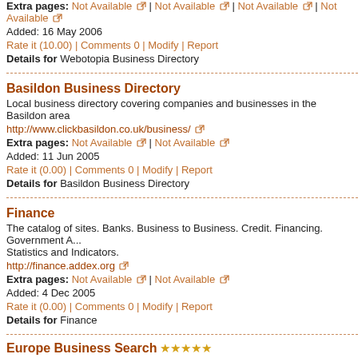Extra pages: Not Available | Not Available | Not Available | Not Available
Added: 16 May 2006
Rate it (10.00) | Comments 0 | Modify | Report
Details for Webotopia Business Directory
Basildon Business Directory
Local business directory covering companies and businesses in the Basildon area
http://www.clickbasildon.co.uk/business/
Extra pages: Not Available | Not Available
Added: 11 Jun 2005
Rate it (0.00) | Comments 0 | Modify | Report
Details for Basildon Business Directory
Finance
The catalog of sites. Banks. Business to Business. Credit. Financing. Government A... Statistics and Indicators.
http://finance.addex.org
Extra pages: Not Available | Not Available
Added: 4 Dec 2005
Rate it (0.00) | Comments 0 | Modify | Report
Details for Finance
Europe Business Search